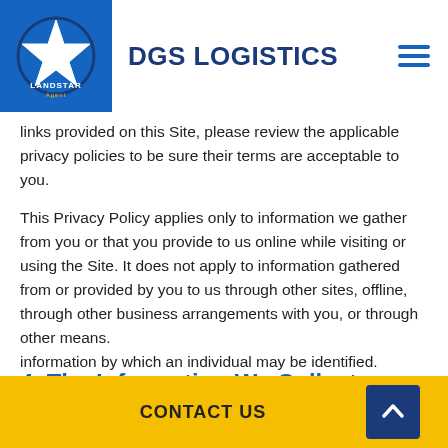DGS LOGISTICS
links provided on this Site, please review the applicable privacy policies to be sure their terms are acceptable to you.
This Privacy Policy applies only to information we gather from you or that you provide to us online while visiting or using the Site. It does not apply to information gathered from or provided by you to us through other sites, offline, through other business arrangements with you, or through other means.
4. The Information We Collect
The Site offers business information about our Agency. The Site is not to be used by individual consumers to purchase consumer products or services.
CONTACT US
information by which an individual may be identified.